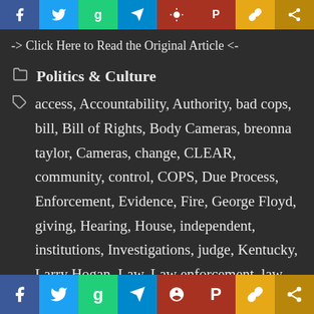[Figure (other): Top social sharing icon bar with Facebook, Twitter, Gab, Telegram, MeWe, Parler, Post, and Share icons]
-> Click Here to Read the Original Article <-
Politics & Culture
access, Accountability, Authority, bad cops, bill, Bill of Rights, Body Cameras, breonna taylor, Cameras, change, CLEAR, community, control, COPS, Due Process, Enforcement, Evidence, Fire, George Floyd, giving, Hearing, House, independent, institutions, Investigations, judge, Kentucky, Larry Hogan, Law, Law enforcement, law enforcement officers, lawmakers, Legislation, Libertarian, Maryland, Minnesota, Misconduct, new, no-knock warrants, Ou...
[Figure (other): Bottom social sharing bar with Facebook, Twitter, Gab, Telegram, MeWe, Parler, Post, and Share icons]